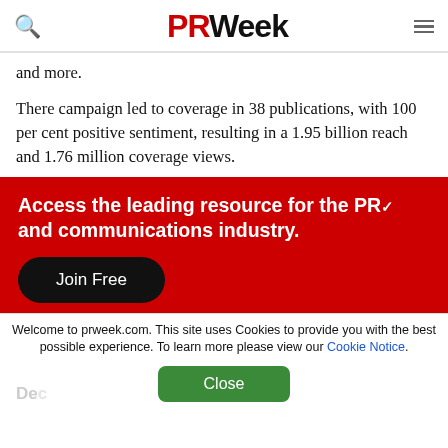PRWeek
and more.
There campaign led to coverage in 38 publications, with 100 per cent positive sentiment, resulting in a 1.95 billion reach and 1.76 million coverage views.
Access the leading resource for the PR and communications industry.
Join Free
Welcome to prweek.com. This site uses Cookies to provide you with the best possible experience. To learn more please view our Cookie Notice.
Close